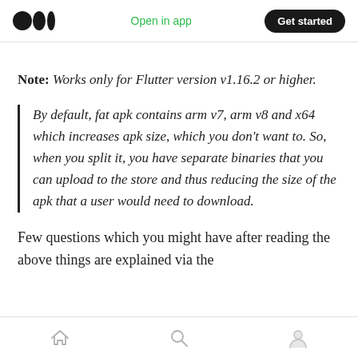Open in app  Get started
Note: Works only for Flutter version v1.16.2 or higher.
By default, fat apk contains arm v7, arm v8 and x64 which increases apk size, which you don't want to. So, when you split it, you have separate binaries that you can upload to the store and thus reducing the size of the apk that a user would need to download.
Few questions which you might have after reading the above things are explained via the
[home] [search] [profile]